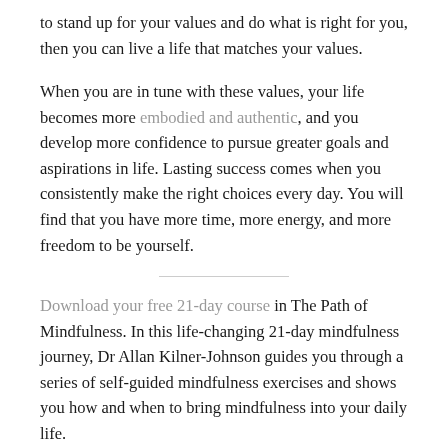to stand up for your values and do what is right for you, then you can live a life that matches your values.
When you are in tune with these values, your life becomes more embodied and authentic, and you develop more confidence to pursue greater goals and aspirations in life. Lasting success comes when you consistently make the right choices every day. You will find that you have more time, more energy, and more freedom to be yourself.
Download your free 21-day course in The Path of Mindfulness. In this life-changing 21-day mindfulness journey, Dr Allan Kilner-Johnson guides you through a series of self-guided mindfulness exercises and shows you how and when to bring mindfulness into your daily life.